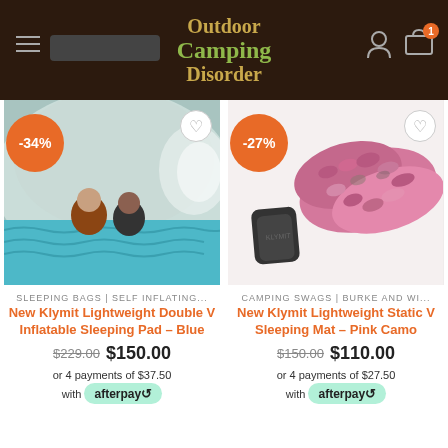Outdoor Camping Disorder – navigation header with logo, hamburger menu, account icon, and cart icon with badge 1
[Figure (photo): Two people sitting inside a tent on a blue Klymit inflatable sleeping pad]
SLEEPING BAGS | SELF INFLATING...
New Klymit Lightweight Double V Inflatable Sleeping Pad – Blue
$229.00  $150.00
or 4 payments of $37.50 with afterpay
[Figure (photo): Pink camo Klymit Static V Sleeping Mat with carrying case]
CAMPING SWAGS | BURKE AND WI...
New Klymit Lightweight Static V Sleeping Mat – Pink Camo
$150.00  $110.00
or 4 payments of $27.50 with afterpay